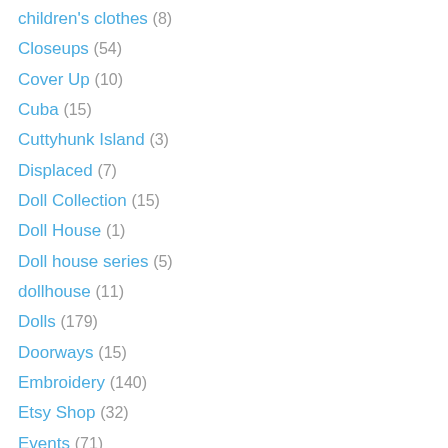children's clothes (8)
Closeups (54)
Cover Up (10)
Cuba (15)
Cuttyhunk Island (3)
Displaced (7)
Doll Collection (15)
Doll House (1)
Doll house series (5)
dollhouse (11)
Dolls (179)
Doorways (15)
Embroidery (140)
Etsy Shop (32)
Events (71)
Exhibits (112)
Fabric Relief (207)
Face Time (8)
Fairies (63)
Fairy Festival (5)